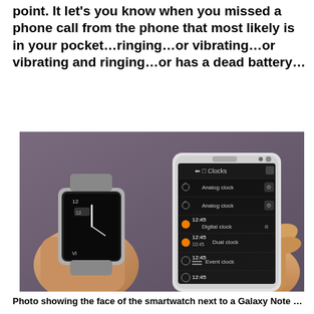point. It let's you know when you missed a phone call from the phone that most likely is in your pocket…ringing…or vibrating…or vibrating and ringing…or has a dead battery…
[Figure (photo): Hands holding a Samsung Galaxy smartwatch (left) and a Samsung Galaxy Note smartphone (right), with the phone screen showing a 'Clocks' widget selection menu with options including Analog clock, Digital clock, Dual clock, and Event clock. The photo has a purple/grey background. Watermark reads '© 2013 CBS Interactive'.]
Photo showing the face of the smartwatch next to a Galaxy Note 3 smartphone...